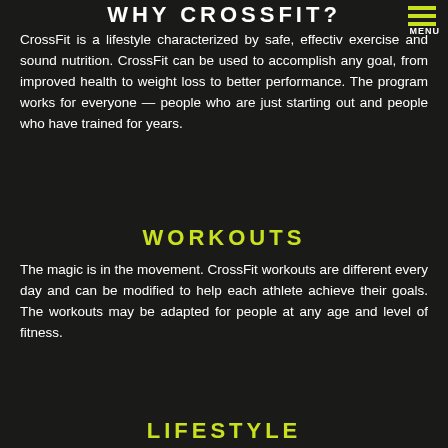WHY CROSSFIT?
CrossFit is a lifestyle characterized by safe, effective exercise and sound nutrition. CrossFit can be used to accomplish any goal, from improved health to weight loss to better performance. The program works for everyone — people who are just starting out and people who have trained for years.
WORKOUTS
The magic is in the movement. CrossFit workouts are different every day and can be modified to help each athlete achieve their goals. The workouts may be adapted for people at any age and level of fitness.
LIFESTYLE